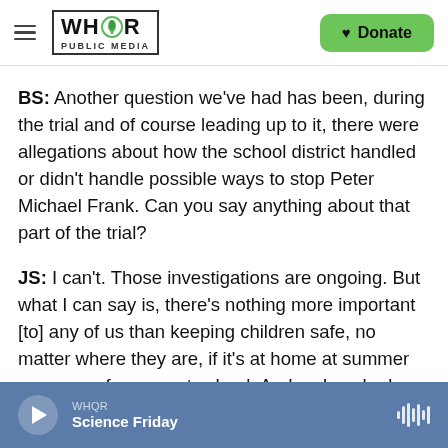WHQR PUBLIC MEDIA | Donate
BS: Another question we've had has been, during the trial and of course leading up to it, there were allegations about how the school district handled or didn't handle possible ways to stop Peter Michael Frank. Can you say anything about that part of the trial?
JS: I can't. Those investigations are ongoing. But what I can say is, there's nothing more important [to] any of us than keeping children safe, no matter where they are, if it's at home at summer camp, or of course at school. And so I worked with the
WHQR Science Friday